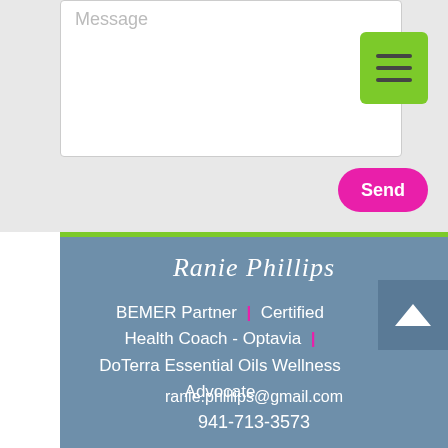[Figure (screenshot): Message text area input box with placeholder text 'Message' and a green hamburger menu button in the top right corner, followed by a magenta/pink 'Send' button]
Ranie Phillips
BEMER Partner | Certified Health Coach - Optavia | DoTerra Essential Oils Wellness Advocate
ranie.phillips@gmail.com
941-713-3573